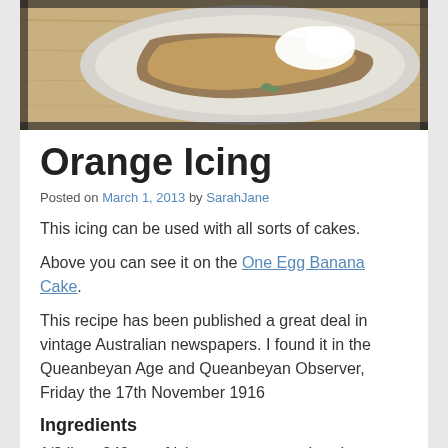[Figure (photo): Photo of a cake or pie on a plate with white cream/icing, viewed from above at an angle, with a wooden surface visible in the background.]
Orange Icing
Posted on March 1, 2013 by SarahJane
This icing can be used with all sorts of cakes.
Above you can see it on the One Egg Banana Cake.
This recipe has been published a great deal in vintage Australian newspapers. I found it in the Queanbeyan Age and Queanbeyan Observer, Friday the 17th November 1916
Ingredients
1/2 lb or 240gm of icing sugar or powdered sugar.